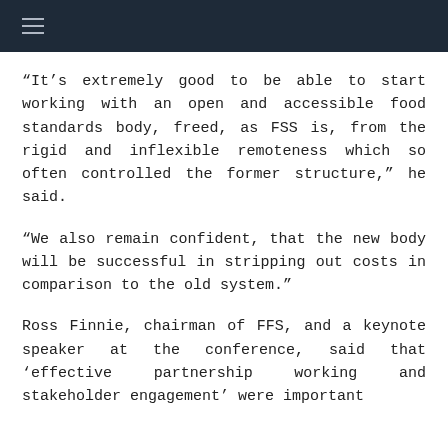≡
“It’s extremely good to be able to start working with an open and accessible food standards body, freed, as FSS is, from the rigid and inflexible remoteness which so often controlled the former structure,” he said.
“We also remain confident, that the new body will be successful in stripping out costs in comparison to the old system.”
Ross Finnie, chairman of FFS, and a keynote speaker at the conference, said that ‘effective partnership working and stakeholder engagement’ were important